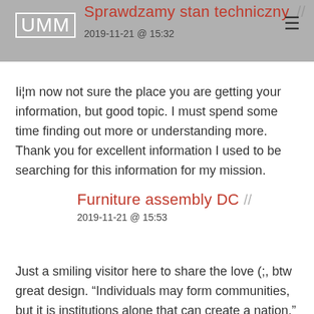UMM | Sprawdzamy stan techniczny // | 2019-11-21 @ 15:32
Ii¦m now not sure the place you are getting your information, but good topic. I must spend some time finding out more or understanding more. Thank you for excellent information I used to be searching for this information for my mission.
Furniture assembly DC // | 2019-11-21 @ 15:53
Just a smiling visitor here to share the love (;, btw great design. "Individuals may form communities, but it is institutions alone that can create a nation." by Benjamin Disraeli...